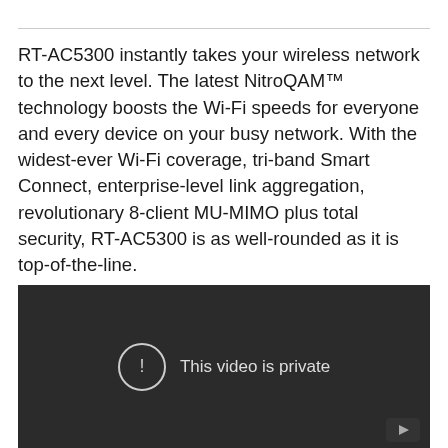RT-AC5300 instantly takes your wireless network to the next level. The latest NitroQAM™ technology boosts the Wi-Fi speeds for everyone and every device on your busy network. With the widest-ever Wi-Fi coverage, tri-band Smart Connect, enterprise-level link aggregation, revolutionary 8-client MU-MIMO plus total security, RT-AC5300 is as well-rounded as it is top-of-the-line.
[Figure (screenshot): A dark video player showing a private video error message with a circle-exclamation icon and the text 'This video is private', with a small play button in the bottom right corner.]